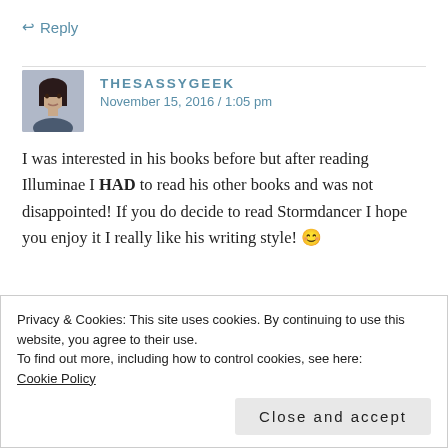↩ Reply
[Figure (photo): Avatar photo of TheSassyGeek — a woman with dark hair]
THESASSYGEEK
November 15, 2016 / 1:05 pm
I was interested in his books before but after reading Illuminae I HAD to read his other books and was not disappointed! If you do decide to read Stormdancer I hope you enjoy it I really like his writing style! 😊
★ Liked by 1 person
Privacy & Cookies: This site uses cookies. By continuing to use this website, you agree to their use.
To find out more, including how to control cookies, see here:
Cookie Policy
Close and accept